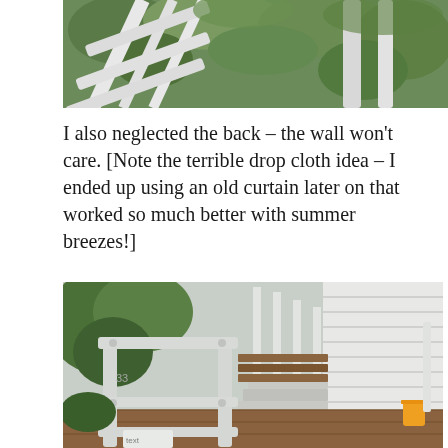[Figure (photo): Close-up photo of a white painted wooden chair or furniture piece against green leafy trees/foliage background, viewed from below/side angle.]
I also neglected the back – the wall won't care. [Note the terrible drop cloth idea – I ended up using an old curtain later on that worked so much better with summer breezes!]
[Figure (photo): Photo of a white painted wooden chair or furniture piece on a wooden deck, with white stairs, wooden bench seating, and green garden in the background. An orange object is visible on the right side.]